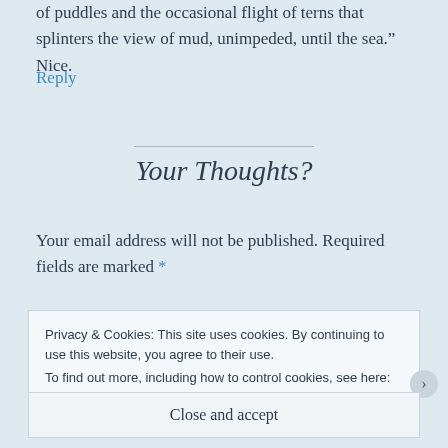of puddles and the occasional flight of terns that splinters the view of mud, unimpeded, until the sea.” Nice.
Reply
Your Thoughts?
Your email address will not be published. Required fields are marked *
Privacy & Cookies: This site uses cookies. By continuing to use this website, you agree to their use.
To find out more, including how to control cookies, see here: Cookie Policy
Close and accept